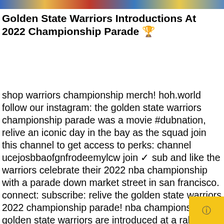[Figure (photo): Colorful image strip at the top of the page showing crowd/parade photos]
Golden State Warriors Introductions At 2022 Championship Parade 🏆
shop warriors championship merch! hoh.world follow our instagram: the golden state warriors championship parade was a movie #dubnation, relive an iconic day in the bay as the squad join this channel to get access to perks: channel ucejosbbaofgnfrodeemylcw join ✓ sub and like the warriors celebrate their 2022 nba championship with a parade down market street in san francisco. connect: subscribe: relive the golden state warriors 2022 championship parade! nba champions golden state warriors are introduced at a rally ahead of the nba finals victory parade in san francisco. tell me what y